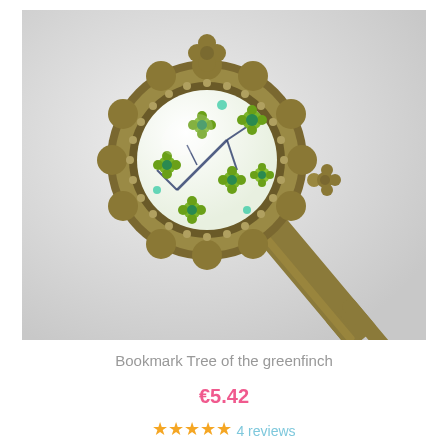[Figure (photo): A bronze antique-style bookmark with a decorative scalloped oval frame containing a glass cabochon with green floral pattern on white background. The bookmark has a forked bottom. Photo taken on grey background.]
Bookmark Tree of the greenfinch
€5.42
4 reviews